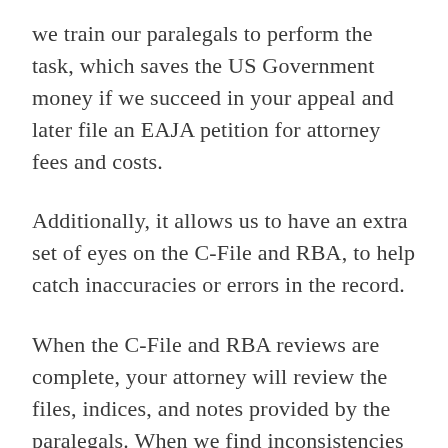we train our paralegals to perform the task, which saves the US Government money if we succeed in your appeal and later file an EAJA petition for attorney fees and costs.
Additionally, it allows us to have an extra set of eyes on the C-File and RBA, to help catch inaccuracies or errors in the record.
When the C-File and RBA reviews are complete, your attorney will review the files, indices, and notes provided by the paralegals. When we find inconsistencies in the RBA that are material to the appeal, we may dispute the RBA.